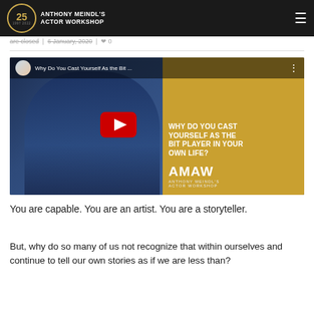Anthony Meindl's Actor Workshop
are closed | 6 January, 2020 | 0
[Figure (screenshot): YouTube video thumbnail for 'Why Do You Cast Yourself As the Bit ...' showing a man in a blue sweater and hat on the left, and on the right a gold background with text 'WHY DO YOU CAST YOURSELF AS THE BIT PLAYER IN YOUR OWN LIFE?' and AMAW Anthony Meindl's Actor Workshop logo. A red YouTube play button is centered over the image.]
You are capable. You are an artist. You are a storyteller.
But, why do so many of us not recognize that within ourselves and continue to tell our own stories as if we are less than?